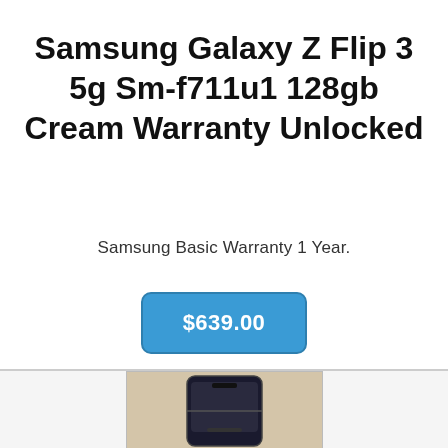Samsung Galaxy Z Flip 3 5g Sm-f711u1 128gb Cream Warranty Unlocked
Samsung Basic Warranty 1 Year.
$639.00
[Figure (photo): Photo of Samsung Galaxy Z Flip 3 smartphone, showing the folded device from the front, placed on a light beige/cream surface.]